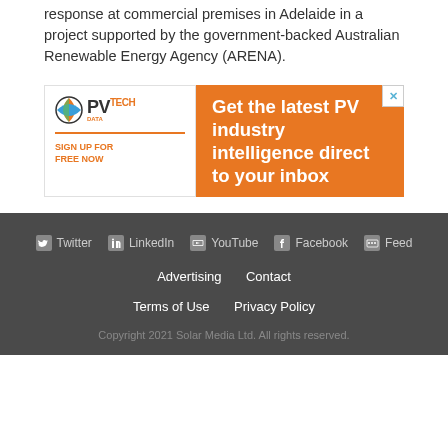response at commercial premises in Adelaide in a project supported by the government-backed Australian Renewable Energy Agency (ARENA).
[Figure (infographic): PV Tech advertisement banner. Left side shows PV Tech logo with 'SIGN UP FOR FREE NOW' text in orange. Right side is orange background with white bold text: 'Get the latest PV industry intelligence direct to your inbox'. An X close button is in the top right corner.]
Twitter  LinkedIn  YouTube  Facebook  Feed  Advertising  Contact  Terms of Use  Privacy Policy  Copyright 2021 Solar Media Ltd. All rights reserved.